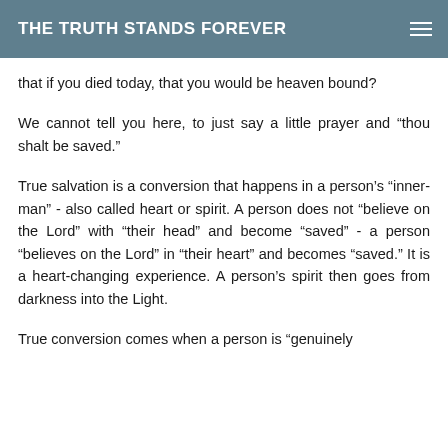THE TRUTH STANDS FOREVER
that if you died today, that you would be heaven bound?
We cannot tell you here, to just say a little prayer and “thou shalt be saved.”
True salvation is a conversion that happens in a person’s “inner-man” - also called heart or spirit. A person does not “believe on the Lord” with “their head” and become “saved” - a person “believes on the Lord” in “their heart” and becomes “saved.” It is a heart-changing experience. A person’s spirit then goes from darkness into the Light.
True conversion comes when a person is “genuinely